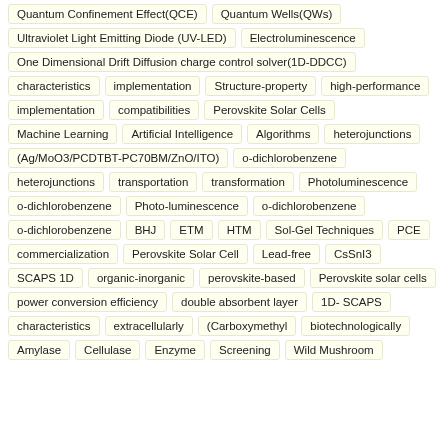Quantum Confinement Effect(QCE)
Quantum Wells(QWs)
Ultraviolet Light Emitting Diode (UV-LED)
Electroluminescence
One Dimensional Drift Diffusion charge control solver(1D-DDCC)
characteristics
implementation
Structure-property
high-performance
implementation
compatibilities
Perovskite Solar Cells
Machine Learning
Artificial Intelligence
Algorithms
heterojunctions
(Ag/MoO3/PCDTBT-PC70BM/ZnO/ITO)
o-dichlorobenzene
heterojunctions
transportation
transformation
Photoluminescence
o-dichlorobenzene
Photo-luminescence
o-dichlorobenzene
o-dichlorobenzene
BHJ
ETM
HTM
Sol-Gel Techniques
PCE
commercialization
Perovskite Solar Cell
Lead-free
CsSnI3
SCAPS 1D
organic-inorganic
perovskite-based
Perovskite solar cells
power conversion efficiency
double absorbent layer
1D- SCAPS
characteristics
extracellularly
(Carboxymethyl
biotechnologically
Amylase
Cellulase
Enzyme
Screening
Wild Mushroom